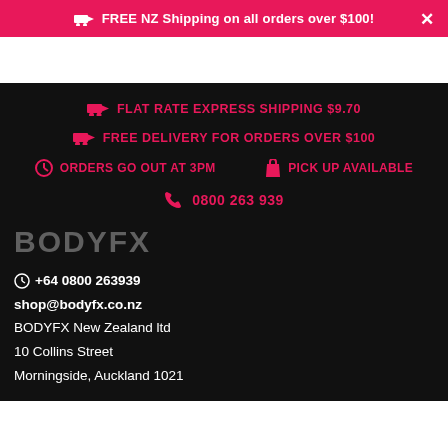FREE NZ Shipping on all orders over $100!
FLAT RATE EXPRESS SHIPPING $9.70
FREE DELIVERY FOR ORDERS OVER $100
ORDERS GO OUT AT 3PM    PICK UP AVAILABLE
0800 263 939
[Figure (logo): BODYFX logo in grey text on black background]
+64 0800 263939
shop@bodyfx.co.nz
BODYFX New Zealand ltd
10 Collins Street
Morningside, Auckland 1021